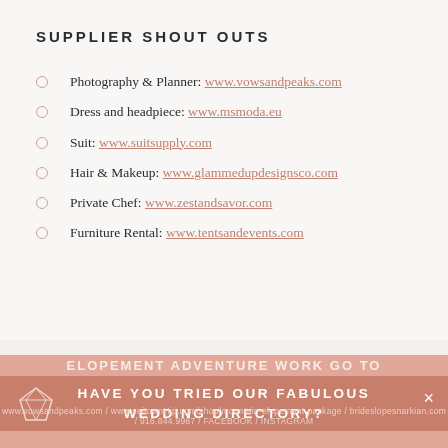SUPPLIER SHOUT OUTS
Photography & Planner: www.vowsandpeaks.com
Dress and headpiece: www.msmoda.eu
Suit: www.suitsupply.com
Hair & Makeup: www.glammedupdesignsco.com
Private Chef: www.zestandsavor.com
Furniture Rental: www.tentsandevents.com
FOR MORE INFORMATION ON SEAN'S
ELOPEMENT ADVENTURE WORK GO TO
HAVE YOU TRIED OUR FABULOUS WEDDING DIRECTORY?
www.vowsandpeaks.com / www.suitownHip.com/shop/mountain-elopement-package / brideslopesnarkian.com / 916.844.9967 / FACEBOOK / INSTAGRAM